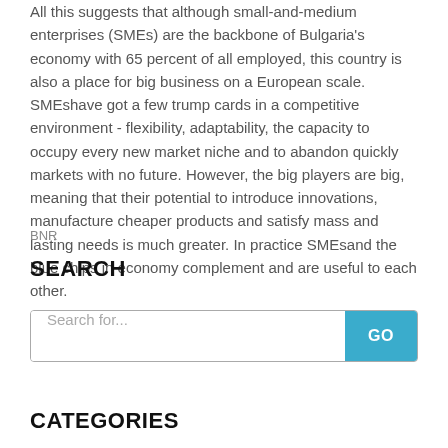All this suggests that although small-and-medium enterprises (SMEs) are the backbone of Bulgaria's economy with 65 percent of all employed, this country is also a place for big business on a European scale.
SMEshave got a few trump cards in a competitive environment - flexibility, adaptability, the capacity to occupy every new market niche and to abandon quickly markets with no future. However, the big players are big, meaning that their potential to introduce innovations, manufacture cheaper products and satisfy mass and lasting needs is much greater. In practice SMEsand the blue chips in economy complement and are useful to each other.
BNR
SEARCH
[Figure (other): Search bar with placeholder text 'Search for...' and a teal GO button]
CATEGORIES